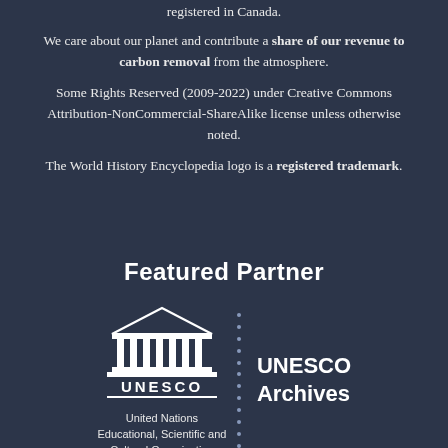registered in Canada.
We care about our planet and contribute a share of our revenue to carbon removal from the atmosphere.
Some Rights Reserved (2009-2022) under Creative Commons Attribution-NonCommercial-ShareAlike license unless otherwise noted.
The World History Encyclopedia logo is a registered trademark.
Featured Partner
[Figure (logo): UNESCO logo with temple/columns symbol and text 'UNESCO', with 'United Nations Educational, Scientific and Cultural Organization' below, next to dotted vertical divider and 'UNESCO Archives' text]